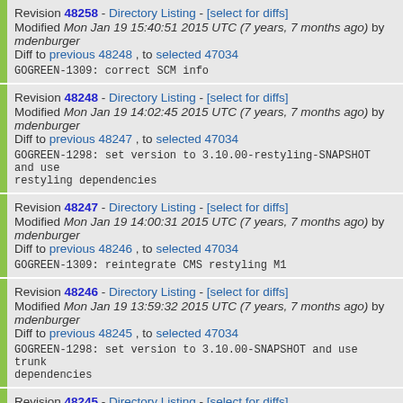Revision 48258 - Directory Listing - [select for diffs]
Modified Mon Jan 19 15:40:51 2015 UTC (7 years, 7 months ago) by mdenburger
Diff to previous 48248 , to selected 47034
GOGREEN-1309: correct SCM info
Revision 48248 - Directory Listing - [select for diffs]
Modified Mon Jan 19 14:02:45 2015 UTC (7 years, 7 months ago) by mdenburger
Diff to previous 48247 , to selected 47034
GOGREEN-1298: set version to 3.10.00-restyling-SNAPSHOT and use restyling dependencies
Revision 48247 - Directory Listing - [select for diffs]
Modified Mon Jan 19 14:00:31 2015 UTC (7 years, 7 months ago) by mdenburger
Diff to previous 48246 , to selected 47034
GOGREEN-1309: reintegrate CMS restyling M1
Revision 48246 - Directory Listing - [select for diffs]
Modified Mon Jan 19 13:59:32 2015 UTC (7 years, 7 months ago) by mdenburger
Diff to previous 48245 , to selected 47034
GOGREEN-1298: set version to 3.10.00-SNAPSHOT and use trunk dependencies
Revision 48245 - Directory Listing - [select for diffs]
Modified Mon Jan 19 13:57:24 2015 UTC (7 years, 7 months ago) by mdenburger
Diff to previous 48191 , to selected 47034